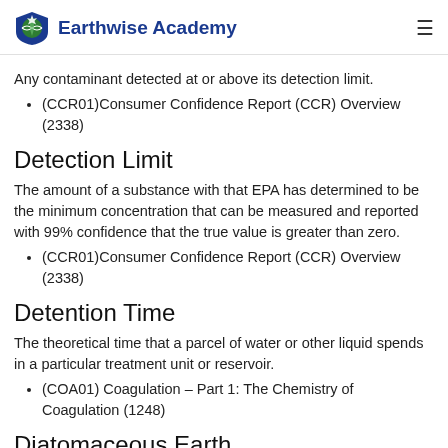Earthwise Academy
Any contaminant detected at or above its detection limit.
(CCR01)Consumer Confidence Report (CCR) Overview (2338)
Detection Limit
The amount of a substance with that EPA has determined to be the minimum concentration that can be measured and reported with 99% confidence that the true value is greater than zero.
(CCR01)Consumer Confidence Report (CCR) Overview (2338)
Detention Time
The theoretical time that a parcel of water or other liquid spends in a particular treatment unit or reservoir.
(COA01) Coagulation – Part 1: The Chemistry of Coagulation (1248)
Diatomaceous Earth
A fine material made up mostly of the skeletal remains of single cell,